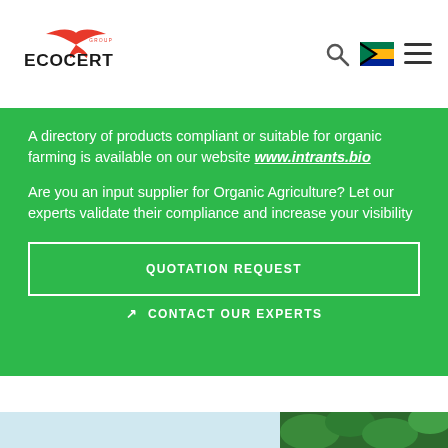[Figure (logo): Ecocert Group logo with red swallow bird and red/black text]
A directory of products compliant or suitable for organic farming is available on our website www.intrants.bio
Are you an input supplier for Organic Agriculture? Let our experts validate their compliance and increase your visibility
QUOTATION REQUEST
CONTACT OUR EXPERTS
[Figure (photo): Bottom strip showing sky and green plant leaves]